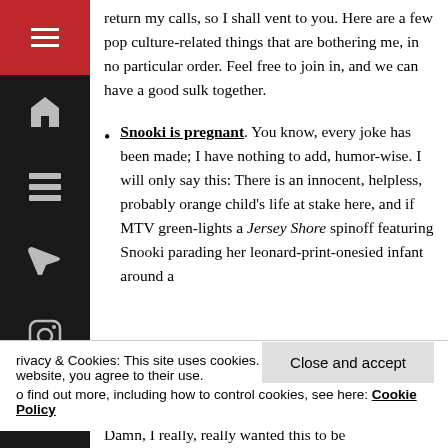return my calls, so I shall vent to you. Here are a few pop culture-related things that are bothering me, in no particular order. Feel free to join in, and we can have a good sulk together.
Snooki is pregnant. You know, every joke has been made; I have nothing to add, humor-wise. I will only say this: There is an innocent, helpless, probably orange child's life at stake here, and if MTV green-lights a Jersey Shore spinoff featuring Snooki parading her leonard-print-onesied infant around a
Privacy & Cookies: This site uses cookies. By continuing to use this website, you agree to their use. To find out more, including how to control cookies, see here: Cookie Policy
Close and accept
Damn, I really, really wanted this to be